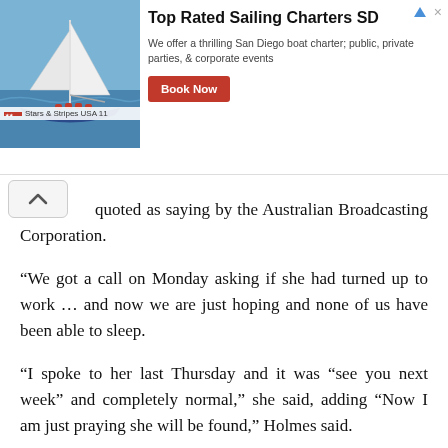[Figure (infographic): Advertisement banner for Top Rated Sailing Charters SD showing a sailing boat photo on the left, ad text in the middle, and a red 'Book Now' button on the right.]
Stars & Stripes USA 11
quoted as saying by the Australian Broadcasting Corporation.
“We got a call on Monday asking if she had turned up to work … and now we are just hoping and none of us have been able to sleep.
“I spoke to her last Thursday and it was “see you next week” and completely normal,” she said, adding “Now I am just praying she will be found,” Holmes said.
The NSW police said they were appealing for information in relation to her whereabouts.
Leave a Reply